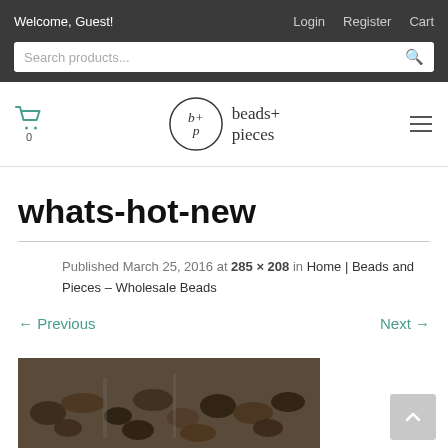Welcome, Guest! | Login | Register | Cart
[Figure (logo): beads+ pieces logo with circular bp monogram]
whats-hot-new
Published March 25, 2016 at 285 × 208 in Home | Beads and Pieces – Wholesale Beads
← Previous    Next →
[Figure (photo): Photo of various dark stone beads arranged on strands]